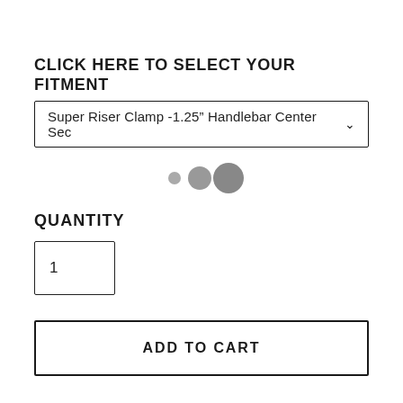CLICK HERE TO SELECT YOUR FITMENT
[Figure (screenshot): Dropdown selector showing 'Super Riser Clamp -1.25" Handlebar Center Sec' with a chevron/arrow on the right]
[Figure (other): Three loading dots/circles of increasing size in gray]
QUANTITY
[Figure (other): Quantity input box showing the number 1]
[Figure (other): Add to Cart button with text 'ADD TO CART']